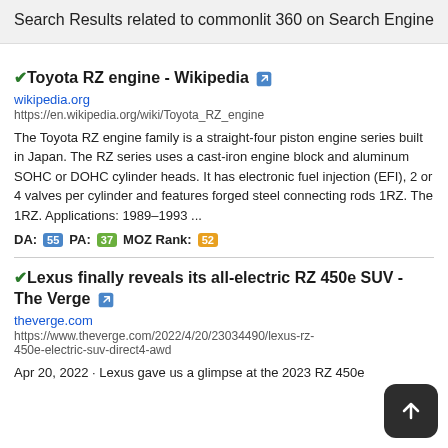Search Results related to commonlit 360 on Search Engine
Toyota RZ engine - Wikipedia
wikipedia.org
https://en.wikipedia.org/wiki/Toyota_RZ_engine
The Toyota RZ engine family is a straight-four piston engine series built in Japan. The RZ series uses a cast-iron engine block and aluminum SOHC or DOHC cylinder heads. It has electronic fuel injection (EFI), 2 or 4 valves per cylinder and features forged steel connecting rods 1RZ. The 1RZ. Applications: 1989–1993 ...
DA: 55 PA: 37 MOZ Rank: 52
Lexus finally reveals its all-electric RZ 450e SUV - The Verge
theverge.com
https://www.theverge.com/2022/4/20/23034490/lexus-rz-450e-electric-suv-direct4-awd
Apr 20, 2022 · Lexus gave us a glimpse at the 2023 RZ 450e